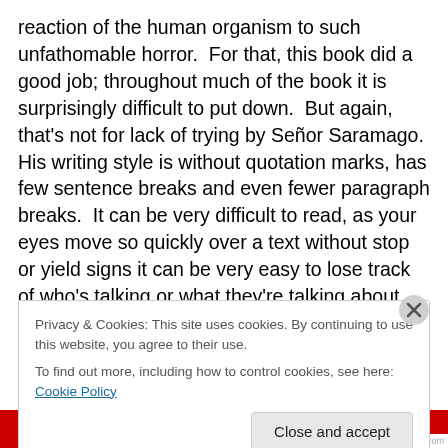reaction of the human organism to such unfathomable horror.  For that, this book did a good job; throughout much of the book it is surprisingly difficult to put down.  But again, that's not for lack of trying by Señor Saramago.  His writing style is without quotation marks, has few sentence breaks and even fewer paragraph breaks.  It can be very difficult to read, as your eyes move so quickly over a text without stop or yield signs it can be very easy to lose track of who's talking or what they're talking about.  However, in counter point, the style does provide an added effect of confusion and disarray during the story's many chaotic
Privacy & Cookies: This site uses cookies. By continuing to use this website, you agree to their use.
To find out more, including how to control cookies, see here: Cookie Policy